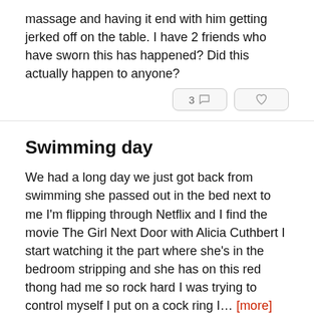massage and having it end with him getting jerked off on the table. I have 2 friends who have sworn this has happened? Did this actually happen to anyone?
Swimming day
We had a long day we just got back from swimming she passed out in the bed next to me I'm flipping through Netflix and I find the movie The Girl Next Door with Alicia Cuthbert I start watching it the part where she's in the bedroom stripping and she has on this red thong had me so rock hard I was trying to control myself I put on a cock ring I... [more]